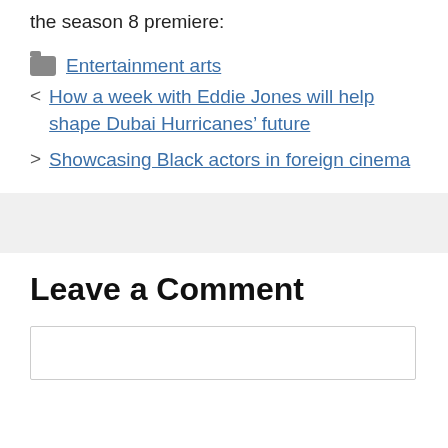the season 8 premiere:
Entertainment arts
How a week with Eddie Jones will help shape Dubai Hurricanes' future
Showcasing Black actors in foreign cinema
Leave a Comment